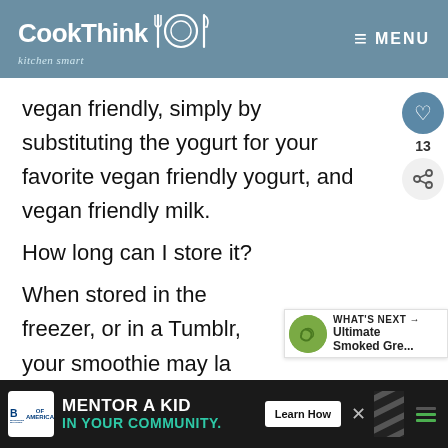CookThink — kitchen smart — MENU
vegan friendly, simply by substituting the yogurt for your favorite vegan friendly yogurt, and vegan friendly milk.
How long can I store it?
When stored in the freezer, or in a Tumblr, your smoothie may la... couple hours max. However, your
[Figure (other): What's Next overlay with green circular thumbnail and text 'WHAT'S NEXT → Ultimate Smoked Gre...']
[Figure (other): Advertisement banner: Big Brothers Big Sisters — MENTOR A KID IN YOUR COMMUNITY. Learn How.]